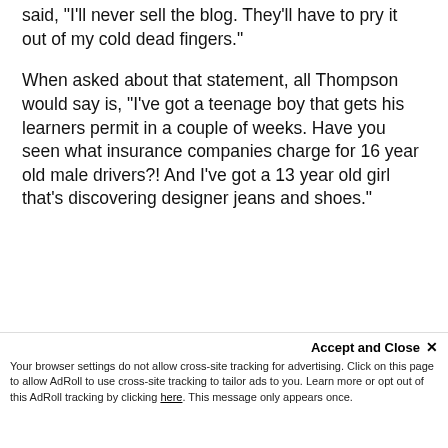said, "I'll never sell the blog. They'll have to pry it out of my cold dead fingers."
When asked about that statement, all Thompson would say is, "I've got a teenage boy that gets his learners permit in a couple of weeks. Have you seen what insurance companies charge for 16 year old male drivers?! And I've got a 13 year old girl that's discovering designer jeans and shoes."
"I'm located in the epicenter of re… [faded background text]
Accept and Close ×
Your browser settings do not allow cross-site tracking for advertising. Click on this page to allow AdRoll to use cross-site tracking to tailor ads to you. Learn more or opt out of this AdRoll tracking by clicking here. This message only appears once.